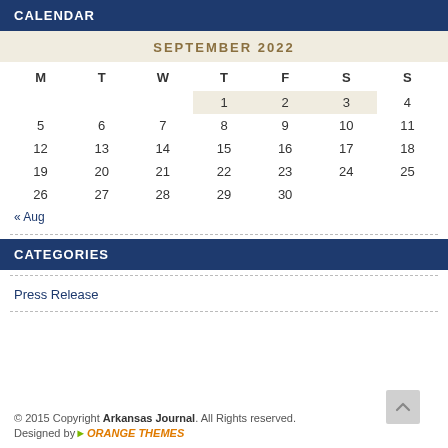CALENDAR
| M | T | W | T | F | S | S |
| --- | --- | --- | --- | --- | --- | --- |
|  |  |  | 1 | 2 | 3 | 4 |
| 5 | 6 | 7 | 8 | 9 | 10 | 11 |
| 12 | 13 | 14 | 15 | 16 | 17 | 18 |
| 19 | 20 | 21 | 22 | 23 | 24 | 25 |
| 26 | 27 | 28 | 29 | 30 |  |  |
« Aug
CATEGORIES
Press Release
© 2015 Copyright Arkansas Journal. All Rights Reserved. Designed by ORANGE THEMES